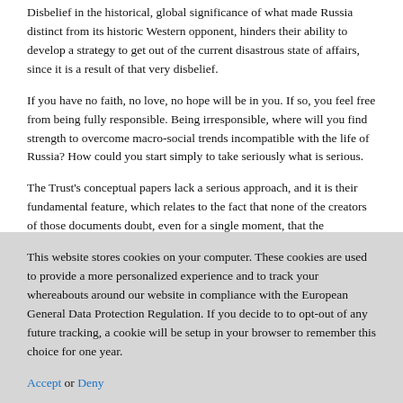Disbelief in the historical, global significance of what made Russia distinct from its historic Western opponent, hinders their ability to develop a strategy to get out of the current disastrous state of affairs, since it is a result of that very disbelief.
If you have no faith, no love, no hope will be in you. If so, you feel free from being fully responsible. Being irresponsible, where will you find strength to overcome macro-social trends incompatible with the life of Russia? How could you start simply to take seriously what is serious.
The Trust's conceptual papers lack a serious approach, and it is their fundamental feature, which relates to the fact that none of the creators of those documents doubt, even for a single moment, that the documents are out there on their own, and the
This website stores cookies on your computer. These cookies are used to provide a more personalized experience and to track your whereabouts around our website in compliance with the European General Data Protection Regulation. If you decide to to opt-out of any future tracking, a cookie will be setup in your browser to remember this choice for one year.
Accept or Deny